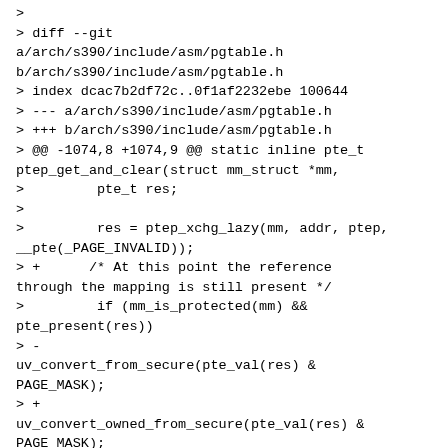> 
> diff --git a/arch/s390/include/asm/pgtable.h b/arch/s390/include/asm/pgtable.h
> index dcac7b2df72c..0f1af2232ebe 100644
> --- a/arch/s390/include/asm/pgtable.h
> +++ b/arch/s390/include/asm/pgtable.h
> @@ -1074,8 +1074,9 @@ static inline pte_t ptep_get_and_clear(struct mm_struct *mm,
>         pte_t res;
> 
>         res = ptep_xchg_lazy(mm, addr, ptep, __pte(_PAGE_INVALID));
> +      /* At this point the reference through the mapping is still present */
>         if (mm_is_protected(mm) && pte_present(res))
> -	uv_convert_from_secure(pte_val(res) & PAGE_MASK);
> +	uv_convert_owned_from_secure(pte_val(res) & PAGE_MASK);
>         return res;
>    }
> 
> @@ -1091,8 +1092,9 @@ static inline pte_t ptep_clear_flush(struct vm_area_struct *vma,
>         pte_t res;
>